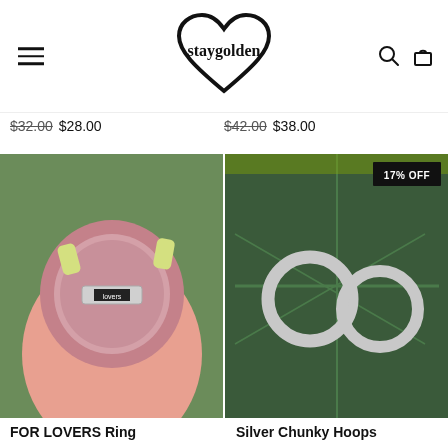[Figure (logo): Staygolden brand logo with heart shape above and below the brand name text]
$32.00 $28.00   $42.00 $38.00
[Figure (photo): Hand holding a ring box with a silver band ring labeled 'lovers' inside a pink velvet ring box]
[Figure (photo): Two silver chunky hoop earrings resting on a large green tropical leaf, with '17% OFF' badge]
FOR LOVERS Ring
Silver Chunky Hoops